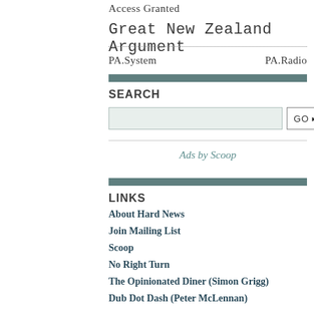Access Granted
Great New Zealand Argument
PA.System    PA.Radio
SEARCH
[Figure (other): Search input box with GO button]
Ads by Scoop
LINKS
About Hard News
Join Mailing List
Scoop
No Right Turn
The Opinionated Diner (Simon Grigg)
Dub Dot Dash (Peter McLennan)
Spleen (Stephen Judd)
Robyn Gallagher
Chris Bourke
Bat, Bean Beam (Giovanni Tiso)
Maui Street (Morgan Godfery)